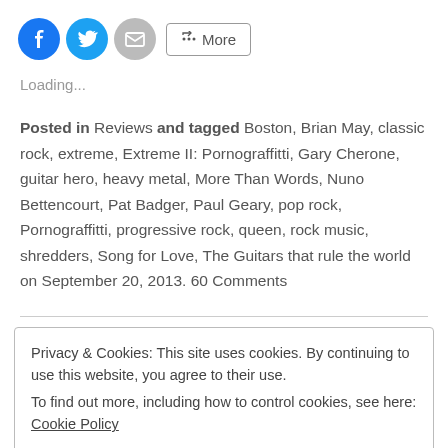[Figure (other): Social sharing buttons: Facebook (blue circle), Twitter (blue circle), Email (gray circle), and a More button with share icon]
Loading...
Posted in Reviews and tagged Boston, Brian May, classic rock, extreme, Extreme II: Pornograffitti, Gary Cherone, guitar hero, heavy metal, More Than Words, Nuno Bettencourt, Pat Badger, Paul Geary, pop rock, Pornograffitti, progressive rock, queen, rock music, shredders, Song for Love, The Guitars that rule the world on September 20, 2013. 60 Comments
Privacy & Cookies: This site uses cookies. By continuing to use this website, you agree to their use. To find out more, including how to control cookies, see here: Cookie Policy
Close and accept